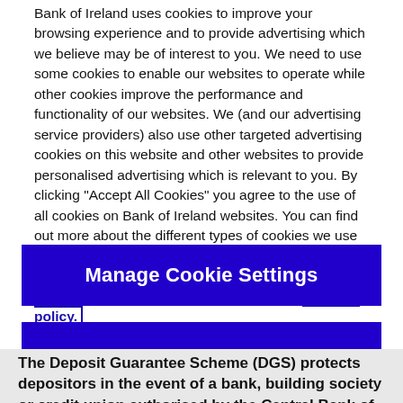Bank of Ireland uses cookies to improve your browsing experience and to provide advertising which we believe may be of interest to you. We need to use some cookies to enable our websites to operate while other cookies improve the performance and functionality of our websites. We (and our advertising service providers) also use other targeted advertising cookies on this website and other websites to provide personalised advertising which is relevant to you. By clicking "Accept All Cookies" you agree to the use of all cookies on Bank of Ireland websites. You can find out more about the different types of cookies we use and manage your cookie settings on this website by clicking "Manage Cookie Settings". To find out more about how we use cookies please read our cookies policy.
Manage Cookie Settings
The Deposit Guarantee Scheme (DGS) protects depositors in the event of a bank, building society or credit union authorised by the Central Bank of